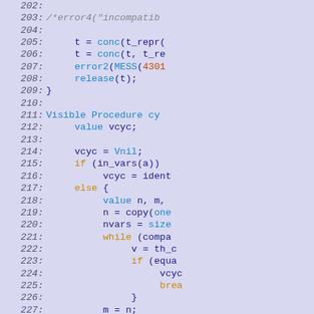[Figure (screenshot): Source code listing showing lines 202-231 of a program, displayed in a code editor with syntax highlighting. Left half of page is lavender background with no code. Right half shows line numbers in italic and code with blue, orange, magenta color highlighting.]